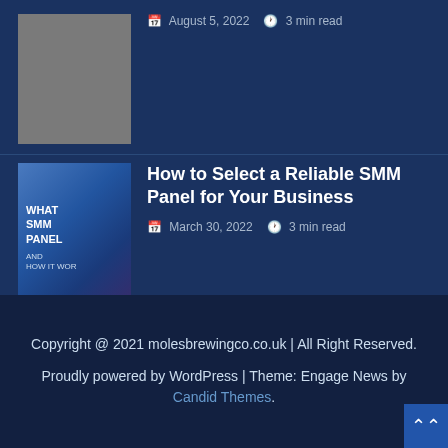[Figure (photo): Gray placeholder thumbnail image for a blog article]
August 5, 2022   3 min read
[Figure (illustration): Thumbnail image with text: WHAT SMM PANEL AND HOW IT WOR]
How to Select a Reliable SMM Panel for Your Business
March 30, 2022   3 min read
Copyright @ 2021 molesbrewingco.co.uk | All Right Reserved.
Proudly powered by WordPress | Theme: Engage News by Candid Themes.